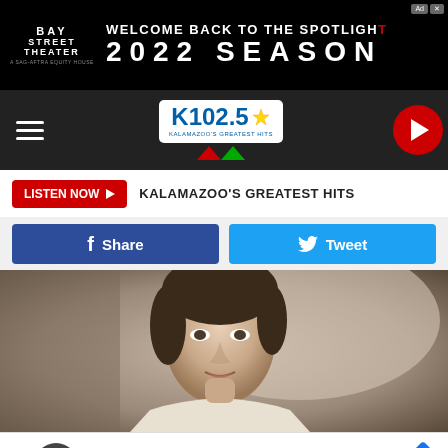[Figure (screenshot): Bay Street Theater ad banner: black background, 'WELCOME BACK TO THE SPOTLIGHT 2022 SEASON' in white text]
[Figure (screenshot): K102.5 radio station navigation bar with hamburger menu and red play button]
LISTEN NOW ▶  KALAMAZOO'S GREATEST HITS
f Share   🐦 Tweet
[Figure (photo): Close-up photo of a woman with short dark hair wearing a turtleneck sweater]
Ashburn  OPEN | 7:30AM-6PM  43781 Parkhurst Plaza, Ashb...